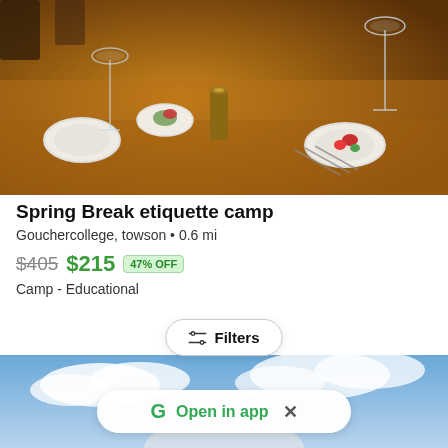[Figure (photo): Photo of an elegant dining table set with white plates, wine glasses, and food items on a rustic wooden table with warm amber lighting]
Spring Break etiquette camp
Gouchercollege, towson • 0.6 mi
$405 $215 47% OFF
Camp - Educational
[Figure (screenshot): Filters button overlay and bottom image of sky/clouds with Open in app prompt]
Filters
G Open in app ×